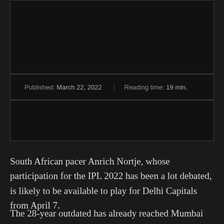[Figure (photo): Dark/black image placeholder at top]
Published: March 22, 2022	Reading time: 19 min.
[Figure (photo): Dark/black image placeholder below meta row]
South African pacer Anrich Nortje, whose participation for the IPL 2022 has been a lot debated, is likely to be available to play for Delhi Capitals from April 7.
The 28-year outdated has already reached Mumbai for the